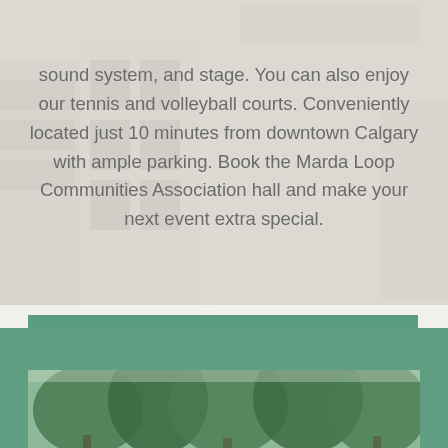sound system, and stage. You can also enjoy our tennis and volleyball courts. Conveniently located just 10 minutes from downtown Calgary with ample parking. Book the Marda Loop Communities Association hall and make your next event extra special.
Hall Rental
[Figure (photo): Green background section with partial view of trees and outdoor area at the bottom of the page]